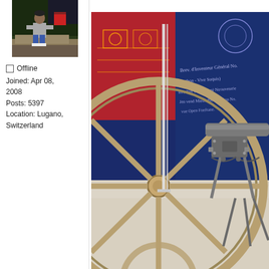[Figure (photo): User avatar photo: a man sitting on a military tank outdoors]
Offline
Joined: Apr 08, 2008
Posts: 5397
Location: Lugano, Switzerland
[Figure (photo): Large photograph of an antique cannon or artillery piece with a large wooden spoked wheel, displayed in a museum with a decorative blue/red backdrop showing engineering schematics and handwritten text]